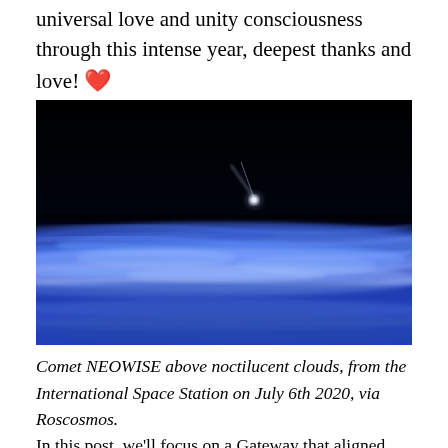universal love and unity consciousness through this intense year, deepest thanks and love! ❤️
[Figure (photo): Comet NEOWISE photographed above glowing blue noctilucent clouds from the International Space Station. The image shows a dark sky with the comet visible as a bright streak, and vivid blue-white noctilucent clouds streaming horizontally across the lower portion.]
Comet NEOWISE above noctilucent clouds, from the International Space Station on July 6th 2020, via Roscosmos.
In this post, we'll focus on a Gateway that aligned through